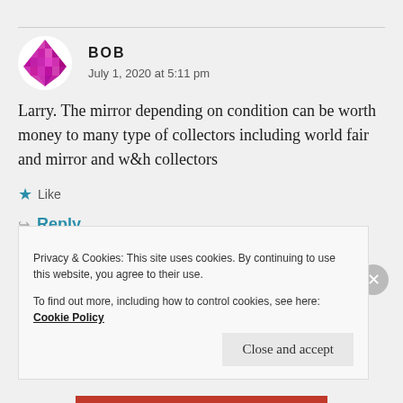[Figure (illustration): Pink/magenta geometric avatar icon for user Bob]
BOB
July 1, 2020 at 5:11 pm
Larry. The mirror depending on condition can be worth money to many type of collectors including world fair and mirror and w&h collectors
Like
Reply
Privacy & Cookies: This site uses cookies. By continuing to use this website, you agree to their use.
To find out more, including how to control cookies, see here: Cookie Policy
Close and accept